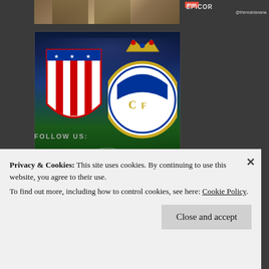[Figure (screenshot): Top banner area with game/product image on left and social media handle on right]
[Figure (photo): Football match graphic showing Atletico Madrid vs Real Madrid club crests on a UEFA Champions League stadium background]
FOLLOW US
Privacy & Cookies: This site uses cookies. By continuing to use this website, you agree to their use.
To find out more, including how to control cookies, see here: Cookie Policy
Close and accept